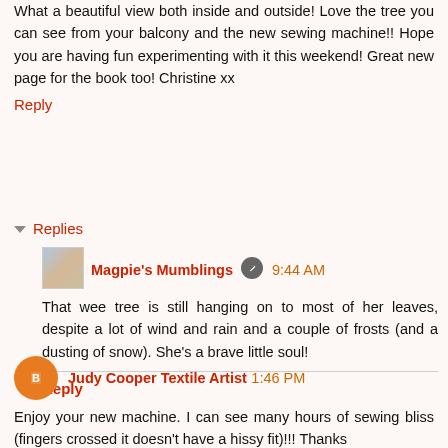What a beautiful view both inside and outside! Love the tree you can see from your balcony and the new sewing machine!! Hope you are having fun experimenting with it this weekend! Great new page for the book too! Christine xx
Reply
▾ Replies
[Figure (photo): Small profile photo thumbnail with blue and tan tones]
Magpie's Mumblings  9:44 AM
That wee tree is still hanging on to most of her leaves, despite a lot of wind and rain and a couple of frosts (and a dusting of snow). She's a brave little soul!
Reply
[Figure (illustration): Orange circle avatar with Blogger 'B' icon]
Judy Cooper Textile Artist  1:46 PM
Enjoy your new machine. I can see many hours of sewing bliss (fingers crossed it doesn't have a hissy fit)!!! Thanks